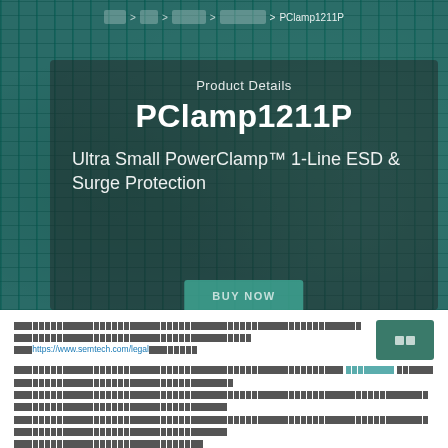□□□ > □□ > □□□□ > □□□□□□ > PClamp1211P
Product Details
PClamp1211P
Ultra Small PowerClamp™ 1-Line ESD & Surge Protection
BUY NOW
Cookie notice text with link https://www.semtech.com/legal
Second paragraph text block